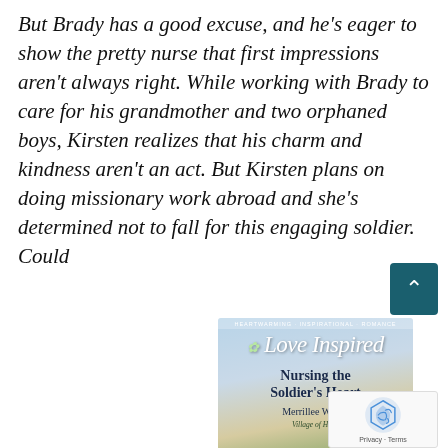But Brady has a good excuse, and he's eager to show the pretty nurse that first impressions aren't always right. While working with Brady to care for his grandmother and two orphaned boys, Kirsten realizes that his charm and kindness aren't an act. But Kirsten plans on doing missionary work abroad and she's determined not to fall for this engaging soldier. Could the...
[Figure (photo): Book cover of 'Nursing the Soldier's Heart' by Merrillee Whren, Love Inspired series, Village of Hope. Shows a sky and nature background with the book title and author name. A teal/dark teal scroll-to-top button appears in the top right corner of the image block, and a reCAPTCHA badge appears in the bottom right.]